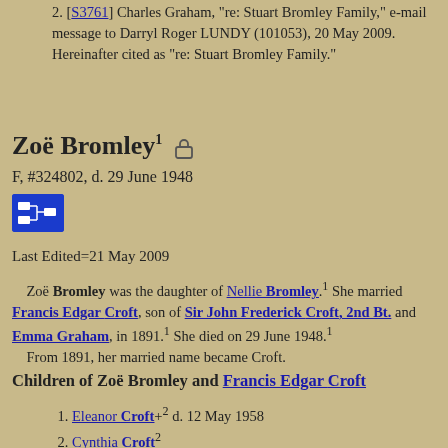[S3761] Charles Graham, "re: Stuart Bromley Family," e-mail message to Darryl Roger LUNDY (101053), 20 May 2009. Hereinafter cited as "re: Stuart Bromley Family."
Zoë Bromley1
F, #324802, d. 29 June 1948
Last Edited=21 May 2009
Zoë Bromley was the daughter of Nellie Bromley.1 She married Francis Edgar Croft, son of Sir John Frederick Croft, 2nd Bt. and Emma Graham, in 1891.1 She died on 29 June 1948.1 From 1891, her married name became Croft.
Children of Zoë Bromley and Francis Edgar Croft
Eleanor Croft+2 d. 12 May 1958
Cynthia Croft2
Lilian Mary Croft+2 b. 1892, d. 1965